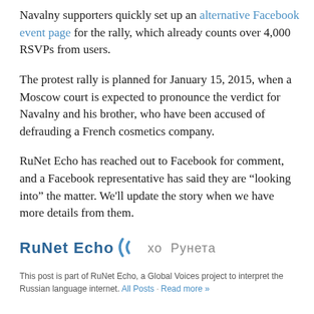Navalny supporters quickly set up an alternative Facebook event page for the rally, which already counts over 4,000 RSVPs from users.
The protest rally is planned for January 15, 2015, when a Moscow court is expected to pronounce the verdict for Navalny and his brother, who have been accused of defrauding a French cosmetics company.
RuNet Echo has reached out to Facebook for comment, and a Facebook representative has said they are “looking into” the matter. We'll update the story when we have more details from them.
[Figure (logo): RuNet Echo logo with stylized wave brackets and Cyrillic text хо Рунета]
This post is part of RuNet Echo, a Global Voices project to interpret the Russian language internet. All Posts · Read more »